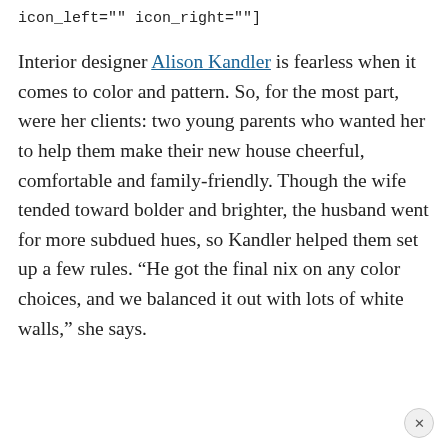icon_left="" icon_right=""]
Interior designer Alison Kandler is fearless when it comes to color and pattern. So, for the most part, were her clients: two young parents who wanted her to help them make their new house cheerful, comfortable and family-friendly. Though the wife tended toward bolder and brighter, the husband went for more subdued hues, so Kandler helped them set up a few rules. “He got the final nix on any color choices, and we balanced it out with lots of white walls,” she says.